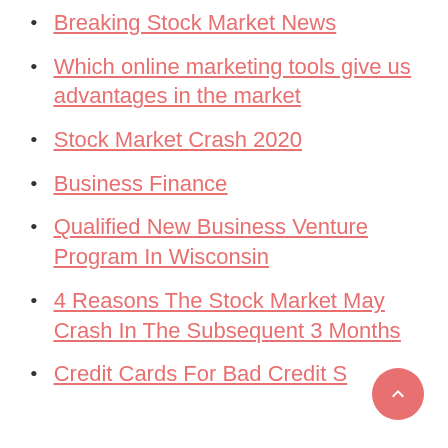Breaking Stock Market News
Which online marketing tools give us advantages in the market
Stock Market Crash 2020
Business Finance
Qualified New Business Venture Program In Wisconsin
4 Reasons The Stock Market May Crash In The Subsequent 3 Months
Credit Cards For Bad Credit S…